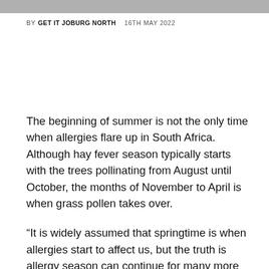BY GET IT JOBURG NORTH   16TH MAY 2022
The beginning of summer is not the only time when allergies flare up in South Africa. Although hay fever season typically starts with the trees pollinating from August until October, the months of November to April is when grass pollen takes over.
“It is widely assumed that springtime is when allergies start to affect us, but the truth is allergy season can continue for many more months afterwards with only a small reprise during winter,” explained Mario